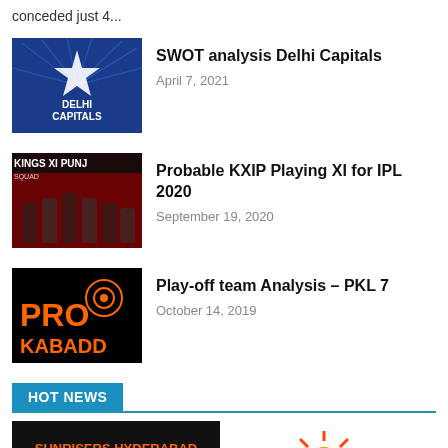conceded just 4...
[Figure (photo): Delhi Capitals logo on blue background]
SWOT analysis Delhi Capitals
April 7, 2021
[Figure (photo): Kings XI Punjab squad photo]
Probable KXIP Playing XI for IPL 2020
September 19, 2020
[Figure (photo): Pro Kabaddi league logo on black background]
Play-off team Analysis – PKL 7
October 14, 2019
HOT NEWS
[Figure (photo): Sunrisers Hyderabad Final Squad banner]
[Figure (logo): Sunrisers Hyderabad orange phoenix logo]